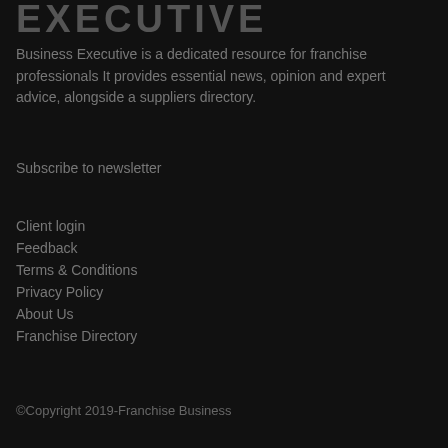EXECUTIVE
Business Executive is a dedicated resource for franchise professionals It provides essential news, opinion and expert advice, alongside a suppliers directory.
Subscribe to newsletter
Client login
Feedback
Terms & Conditions
Privacy Policy
About Us
Franchise Directory
©Copyright 2019-Franchise Business